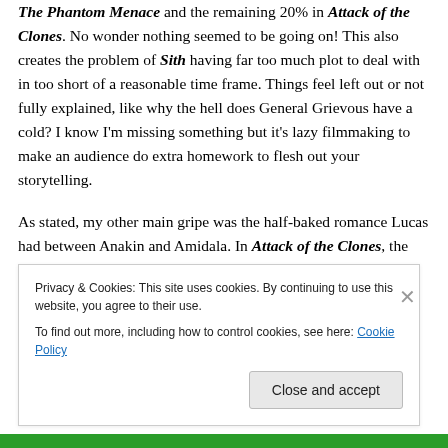The Phantom Menace and the remaining 20% in Attack of the Clones. No wonder nothing seemed to be going on! This also creates the problem of Sith having far too much plot to deal with in too short of a reasonable time frame. Things feel left out or not fully explained, like why the hell does General Grievous have a cold? I know I'm missing something but it's lazy filmmaking to make an audience do extra homework to flesh out your storytelling.

As stated, my other main gripe was the half-baked romance Lucas had between Anakin and Amidala. In Attack of the Clones, the romance is spontaneous. He
Privacy & Cookies: This site uses cookies. By continuing to use this website, you agree to their use.
To find out more, including how to control cookies, see here: Cookie Policy